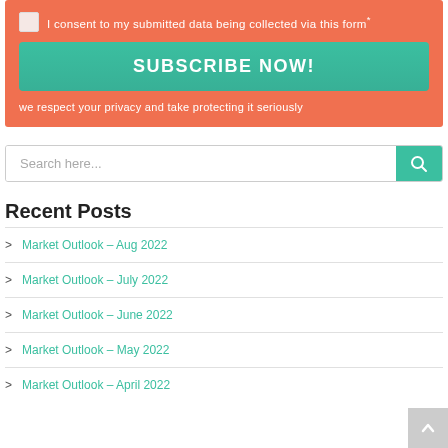I consent to my submitted data being collected via this form*
SUBSCRIBE NOW!
we respect your privacy and take protecting it seriously
Search here...
Recent Posts
> Market Outlook – Aug 2022
> Market Outlook – July 2022
> Market Outlook – June 2022
> Market Outlook – May 2022
> Market Outlook – April 2022